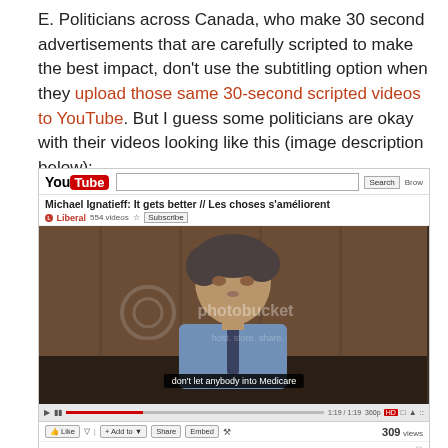E. Politicians across Canada, who make 30 second advertisements that are carefully scripted to make the best impact, don't use the subtitling option when they upload those same 30-second scripted videos to YouTube. But I guess some politicians are okay with their videos looking like this (image description below):
[Figure (screenshot): Screenshot of a YouTube page showing a video by Michael Ignatieff titled 'It gets better // Les choses s'améliorent', uploaded by the Liberal party channel. The video thumbnail shows a man in a light blue shirt speaking to camera in front of wooden paneling. A subtitle bar at the bottom of the video reads 'don't let anybody into Medicare'. The video has 309 views. A Photobucket watermark overlays the image.]